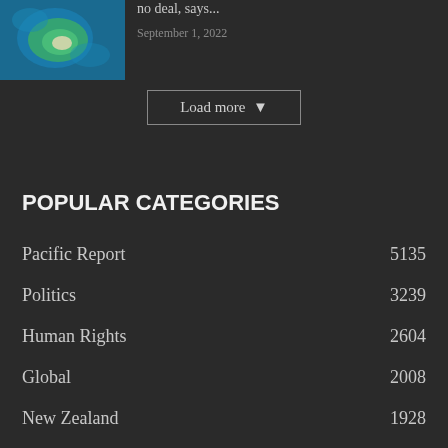[Figure (photo): Aerial photo of a small island surrounded by blue ocean water]
no deal, says...
September 1, 2022
Load more ▾
POPULAR CATEGORIES
Pacific Report  5135
Politics  3239
Human Rights  2604
Global  2008
New Zealand  1928
Syndicate  1615
Media  1351
RNZ Pacific  1327